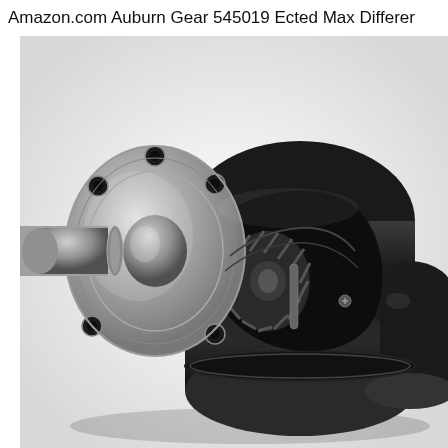Amazon.com Auburn Gear 545019 Ected Max Differer
[Figure (photo): Close-up product photo of an Auburn Gear 545019 limited slip differential unit. The assembly shows a silver/brushed steel flange with bolt holes on the left, connected to a black cylindrical differential housing. The center of the housing is open revealing internal helical spider gears. A smaller black cylindrical shaft protrudes from the right side. Background is white/light gray.]